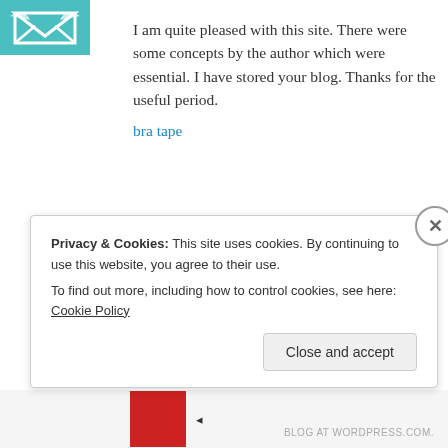[Figure (logo): Teal/cyan colored avatar icon with bird/envelope motif]
I am quite pleased with this site. There were some concepts by the author which were essential. I have stored your blog. Thanks for the useful period.
bra tape
★ Like
Reply
Privacy & Cookies: This site uses cookies. By continuing to use this website, you agree to their use.
To find out more, including how to control cookies, see here: Cookie Policy
Close and accept